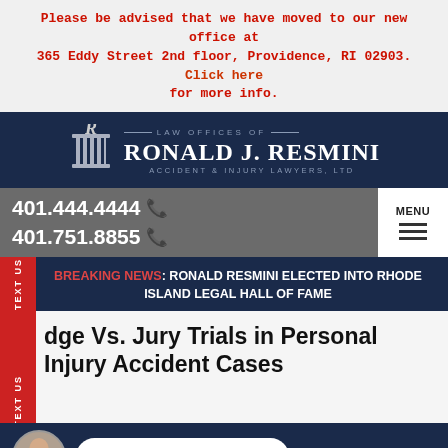Please be advised that we have moved to our new office at 365 Eddy Street 2nd floor, Providence, RI 02903. Click here for more info.
[Figure (logo): Law Offices of Ronald J. Resmini, Accident & Injury Lawyers, Ltd logo with column icon on dark navy background]
401.444.4444
401.751.8855
MENU
BREAKING NEWS: RONALD RESMINI ELECTED INTO RHODE ISLAND LEGAL HALL OF FAME
dge Vs. Jury Trials in Personal Injury Accident Cases
LIVE CHAT  START NOW